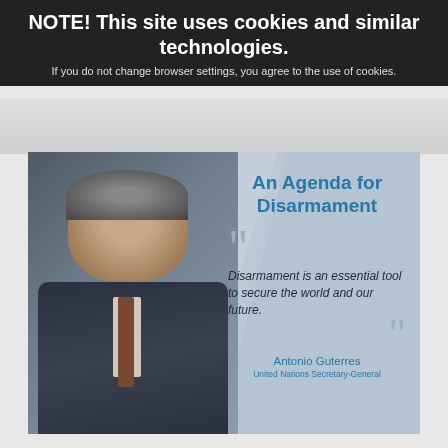NOTE! This site uses cookies and similar technologies. If you do not change browser settings, you agree to the use of cookies.
[Figure (photo): UN Secretary-General Antonio Guterres promotional image for 'An Agenda for Disarmament' with quote: 'Disarmament is an essential tool to secure the world and our future.' — Antonio Guterres, United Nations Secretary-General]